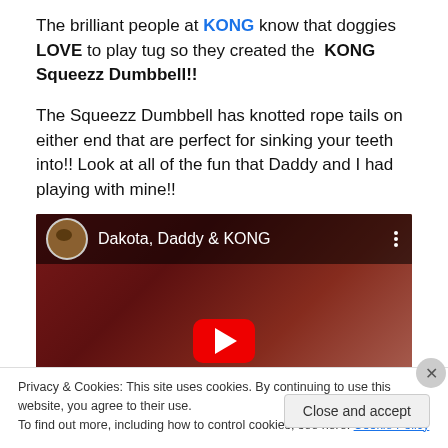The brilliant people at KONG know that doggies LOVE to play tug so they created the KONG Squeezz Dumbbell!!
The Squeezz Dumbbell has knotted rope tails on either end that are perfect for sinking your teeth into!! Look at all of the fun that Daddy and I had playing with mine!!
[Figure (screenshot): YouTube video thumbnail showing a dog playing tug with a KONG toy, titled 'Dakota, Daddy & KONG', with a red play button in the center]
Privacy & Cookies: This site uses cookies. By continuing to use this website, you agree to their use. To find out more, including how to control cookies, see here: Cookie Policy